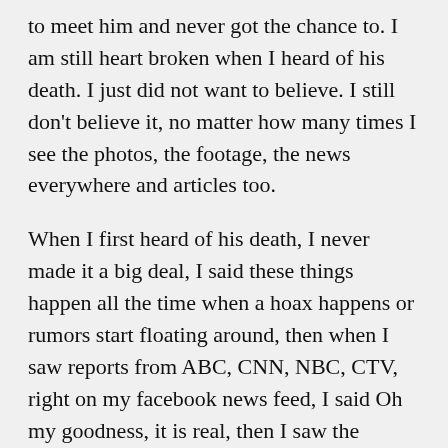to meet him and never got the chance to. I am still heart broken when I heard of his death. I just did not want to believe. I still don't believe it, no matter how many times I see the photos, the footage, the news everywhere and articles too.
When I first heard of his death, I never made it a big deal, I said these things happen all the time when a hoax happens or rumors start floating around, then when I saw reports from ABC, CNN, NBC, CTV, right on my facebook news feed, I said Oh my goodness, it is real, then I saw the footage of the burned Porsche and my heart just stopped, I was in utter shock as I had been checking out Facebook on my phone, I kind of wish I didn't, but I was waiting for a message, but however I remember I was out at a Christmas party just sitting down and enjoying the people and the music at the end of November, 2013 and suddenly my fun and everything just stopped right there, and plus I remember I had a